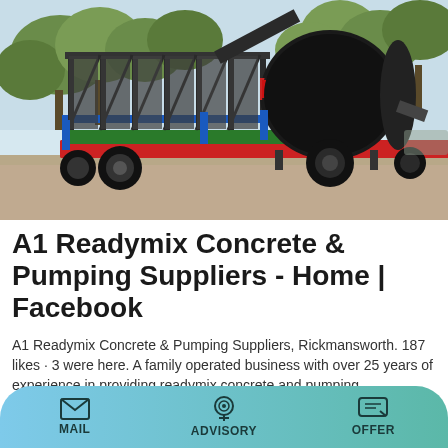[Figure (photo): Mobile readymix concrete batching plant on a trailer with a large black and red drum mixer, blue and green steel frame, large tyres, parked on a dirt/concrete surface with trees in background.]
A1 Readymix Concrete & Pumping Suppliers - Home | Facebook
A1 Readymix Concrete & Pumping Suppliers, Rickmansworth. 187 likes · 3 were here. A family operated business with over 25 years of experience in providing readymix concrete and pumping.
MAIL   ADVISORY   OFFER